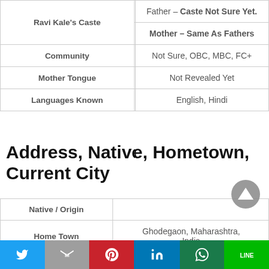| Field | Value |
| --- | --- |
| Ravi Kale's Caste | Father – Caste Not Sure Yet. |
|  | Mother – Same As Fathers |
| Community | Not Sure, OBC, MBC, FC+ |
| Mother Tongue | Not Revealed Yet |
| Languages Known | English, Hindi |
Address, Native, Hometown, Current City
| Field | Value |
| --- | --- |
| Native / Origin |  |
| Home Town | Ghodegaon, Maharashtra, India |